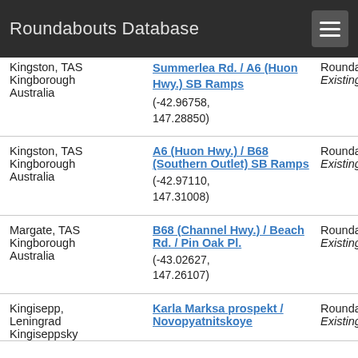Roundabouts Database
| Location | Intersection | Type / Status | Attributes |
| --- | --- | --- | --- |
| Kingston, TAS
Kingborough
Australia | Summerlea Rd. / A6 (Huon Hwy.) SB Ramps
(-42.96758, 147.28850) | Roundabout
Existing | All-
Yie
No |
| Kingston, TAS
Kingborough
Australia | A6 (Huon Hwy.) / B68 (Southern Outlet) SB Ramps
(-42.97110, 147.31008) | Roundabout
Existing | All-
Yie
No |
| Margate, TAS
Kingborough
Australia | B68 (Channel Hwy.) / Beach Rd. / Pin Oak Pl.
(-43.02627, 147.26107) | Roundabout
Existing | All-
Yie
No |
| Kingisepp, Leningrad
Kingiseppsky | Karla Marksa prospekt / Novopyatnitskoye | Roundabout
Existing | All-
Yie
No |